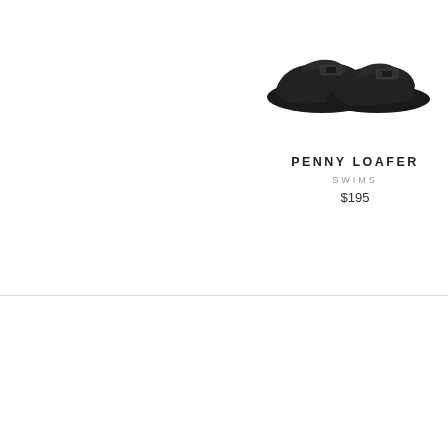[Figure (photo): Black penny loafer shoes photographed on white background, pair of dark suede moccasin-style loafers viewed from the side]
PENNY LOAFER
SWIMS
$195
B... K...
[Figure (photo): Editorial lifestyle photo of a young woman with long blonde hair wearing a light floral or white outfit, standing against a warm cream/peach background, smiling with eyes closed]